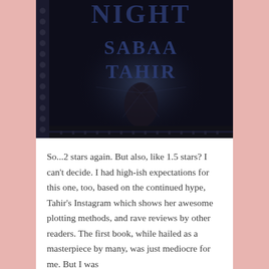[Figure (photo): Photo of a book cover showing 'NIGHT' (partial), 'SABAA TAHIR' in large dark blue letters on a dark atmospheric background with a figure in the center]
So...2 stars again. But also, like 1.5 stars? I can't decide. I had high-ish expectations for this one, too, based on the continued hype, Tahir's Instagram which shows her awesome plotting methods, and rave reviews by other readers. The first book, while hailed as a masterpiece by many, was just mediocre for me. But I was